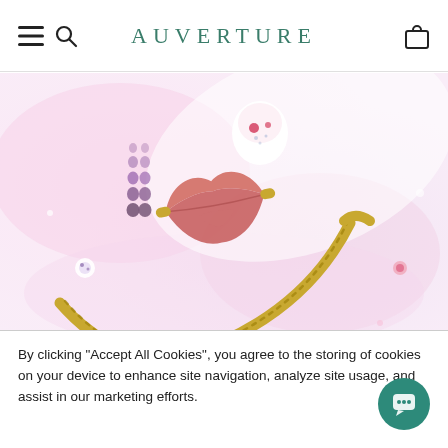AUVERTURE
[Figure (photo): Styled product photography of jewelry on a pink/white background: a gold bangle bracelet with a large coral/salmon-colored lips charm, crystal stud earrings displayed on a white surface, small decorative items with gemstones, and delicate earrings with ruby/amethyst stones.]
AUVERTURE'S VALENTINE'S
By clicking "Accept All Cookies", you agree to the storing of cookies on your device to enhance site navigation, analyze site usage, and assist in our marketing efforts.